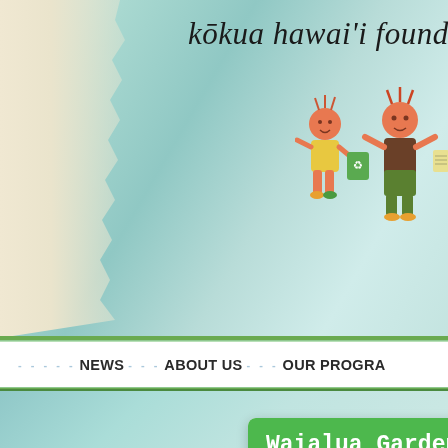[Figure (screenshot): Kōkua Hawaiʻi Foundation website header with watercolor teal/green background, cartoon children illustration, logo text reading 'kōkua hawaiʻi foundatio' (cut off), navigation bar with NEWS, ABOUT US, OUR PROGRA links, and event card showing 'Waialua Garden Grade' title and 'April 4, 2017 12:00 AM - 12:00 PM']
kōkua hawaiʻi foundatio
NEWS   ABOUT US   OUR PROGRA
Waialua Garden Grade
April 4, 2017 12:00 AM - 12:00 PM